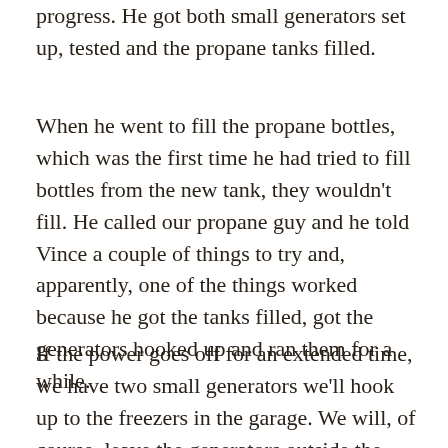progress. He got both small generators set up, tested and the propane tanks filled.
When he went to fill the propane bottles, which was the first time he had tried to fill bottles from the new tank, they wouldn't fill. He called our propane guy and he told Vince a couple of things to try and, apparently, one of the things worked because he got the tanks filled, got the generators hooked up and ran them for a while.
If the power goes off for an extended time, we have two small generators we'll hook up to the freezers in the garage. We will, of course, leave the generators outside the garage, with the